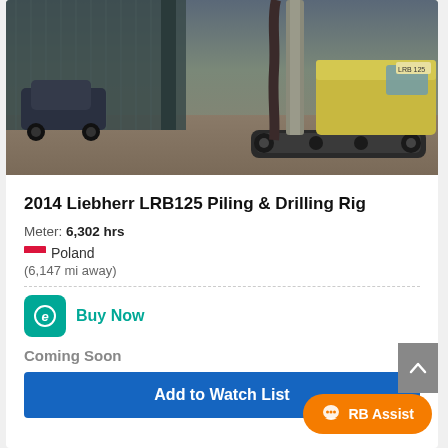[Figure (photo): 2014 Liebherr LRB125 Piling and Drilling Rig photographed outdoors near a warehouse building with a dark car visible in background. The large tracked drilling rig with a tall mast/boom is the main subject.]
2014 Liebherr LRB125 Piling & Drilling Rig
Meter: 6,302 hrs
Poland
(6,147 mi away)
Buy Now
Coming Soon
Add to Watch List
RB Assist